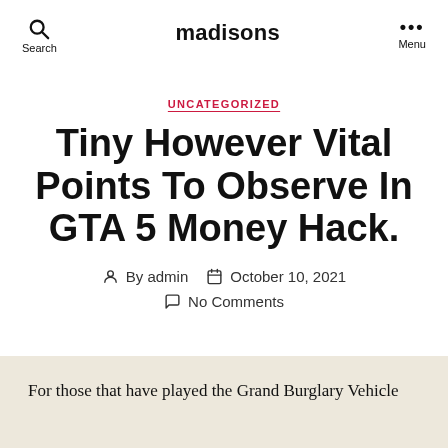madisons
UNCATEGORIZED
Tiny However Vital Points To Observe In GTA 5 Money Hack.
By admin   October 10, 2021   No Comments
For those that have played the Grand Burglary Vehicle